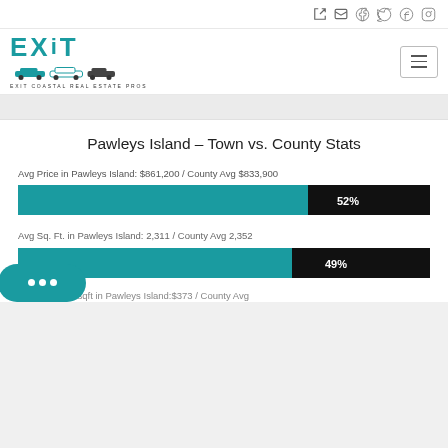[Figure (logo): EXIT Coastal Real Estate Pros logo with teal EXIT text and cars illustration]
Pawleys Island – Town vs. County Stats
Avg Price in Pawleys Island: $861,200 / County Avg $833,900
[Figure (bar-chart): Avg Price comparison]
Avg Sq. Ft. in Pawleys Island: 2,311 / County Avg 2,352
[Figure (bar-chart): Avg Sq Ft comparison]
Avg Price per/sqft in Pawleys Island:$373 / County Avg